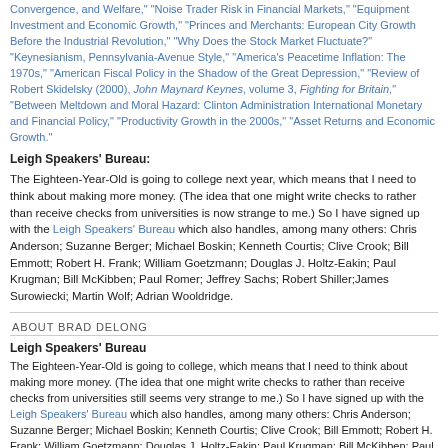Convergence, and Welfare," "Noise Trader Risk in Financial Markets," "Equipment Investment and Economic Growth," "Princes and Merchants: European City Growth Before the Industrial Revolution," "Why Does the Stock Market Fluctuate?" "Keynesianism, Pennsylvania-Avenue Style," "America's Peacetime Inflation: The 1970s," "American Fiscal Policy in the Shadow of the Great Depression," "Review of Robert Skidelsky (2000), John Maynard Keynes, volume 3, Fighting for Britain," "Between Meltdown and Moral Hazard: Clinton Administration International Monetary and Financial Policy," "Productivity Growth in the 2000s," "Asset Returns and Economic Growth."
Leigh Speakers' Bureau:
The Eighteen-Year-Old is going to college next year, which means that I need to think about making more money. (The idea that one might write checks to rather than receive checks from universities is now strange to me.) So I have signed up with the Leigh Speakers' Bureau which also handles, among many others: Chris Anderson; Suzanne Berger; Michael Boskin; Kenneth Courtis; Clive Crook; Bill Emmott; Robert H. Frank; William Goetzmann; Douglas J. Holtz-Eakin; Paul Krugman; Bill McKibben; Paul Romer; Jeffrey Sachs; Robert Shiller;James Surowiecki; Martin Wolf; Adrian Wooldridge.
ABOUT BRAD DELONG
Leigh Speakers' Bureau
The Eighteen-Year-Old is going to college, which means that I need to think about making more money. (The idea that one might write checks to rather than receive checks from universities still seems very strange to me.) So I have signed up with the Leigh Speakers' Bureau which also handles, among many others: Chris Anderson; Suzanne Berger; Michael Boskin; Kenneth Courtis; Clive Crook; Bill Emmott; Robert H. Frank; William Goetzmann; Douglas J. Holtz-Eakin; Paul Krugman; Bill McKibben; Paul Romer; Jeffrey Sachs; Robert Shiller;James Surowiecki; Martin Wolf; Adrian Wooldridge.